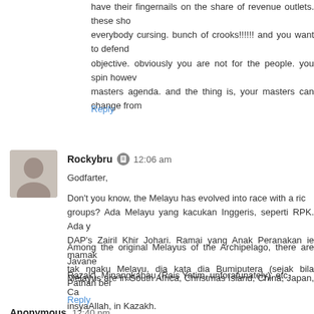have their fingernails on the share of revenue outlets. these shop everybody cursing. bunch of crooks!!!!!! and you want to defend objective. obviously you are not for the people. you spin howev masters agenda. and the thing is, your masters can change from
Reply
Rockybru  12:06 am
Godfarter,
Don't you know, the Melayu has evolved into race with a rich groups? Ada Melayu yang kacukan Inggeris, seperti RPK. Ada y DAP's Zairil Khir Johari. Ramai yang Anak Peranakan ie mamak tak ngaku Melayu, dia kata dia Bumiputera (sejak bila Pathan bert
Among the original Melayus of the Archipelago, there are Javane Razak), Minangkabau (Rais Yatim, unforatunately), etc.
Melayus are in South Africa, Christmas Island, China, Japan, Ca insyaAllah, in Kazakh.
Reply
Anonymous  12:40 pm